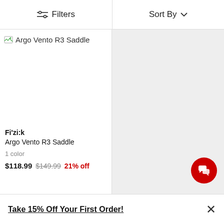Filters   Sort By
[Figure (photo): Broken image placeholder for Argo Vento R3 Saddle product photo]
Fi'zi:k
Argo Vento R3 Saddle
1 color
$118.99  $149.99  21% off
Take 15% Off Your First Order!